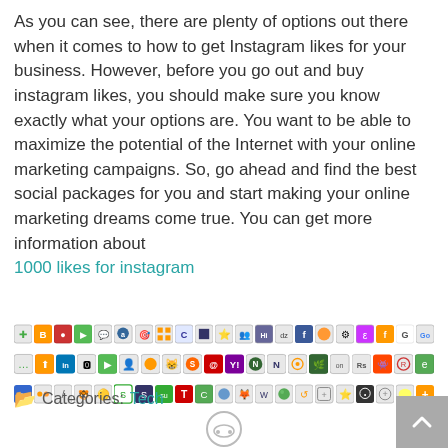As you can see, there are plenty of options out there when it comes to how to get Instagram likes for your business. However, before you go out and buy instagram likes, you should make sure you know exactly what your options are. You want to be able to maximize the potential of the Internet with your online marketing campaigns. So, go ahead and find the best social packages for you and start making your online marketing dreams come true. You can get more information about 1000 likes for instagram
[Figure (infographic): A row of social media sharing icon buttons in a grid layout, showing various social network logos and sharing service icons in color]
Categories: Tech